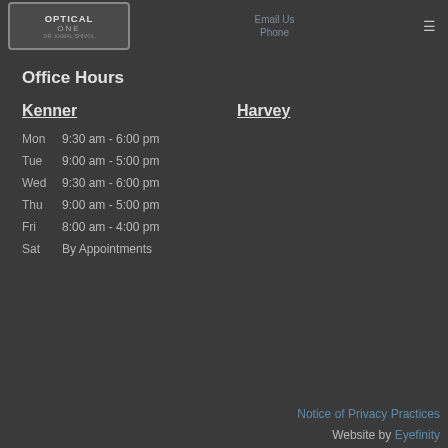Optical One — Email / Phone header navigation
Office Hours
| Day | Kenner | Harvey |
| --- | --- | --- |
| Mon | 9:30 am - 6:00 pm | 9:00am-5:00pm |
| Tue | 9:00 am - 5:00 pm | 9:30am-6:00pm |
| Wed | 9:30 am - 6:00 pm | 9:00am-5:00pm |
| Thu | 9:00 am - 5:00 pm | 9:30am-6:00pm |
| Fri | 8:00 am - 4:00 pm | 8:00am-4:00pm |
| Sat | By Appointments | By Appointments |
Notice of Privacy Practices | Website by Eyefinity